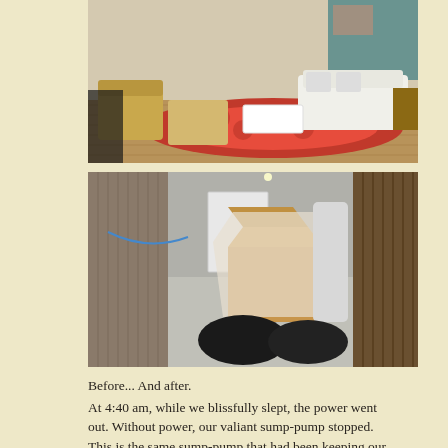[Figure (photo): Interior living room photo showing beige/yellow armchairs, footstool, white sofa, red patterned rug on wood floor — the 'before' state of the room.]
[Figure (photo): Basement room photo showing bare concrete floor, cardboard boxes, black garbage bags, wooden framing on the right side, and a white door — the 'after' flood damage state.]
Before... And after.
At 4:40 am, while we blissfully slept, the power went out. Without power, our valiant sump-pump stopped. This is the same sump-pump that had been keeping our basement dry during the record